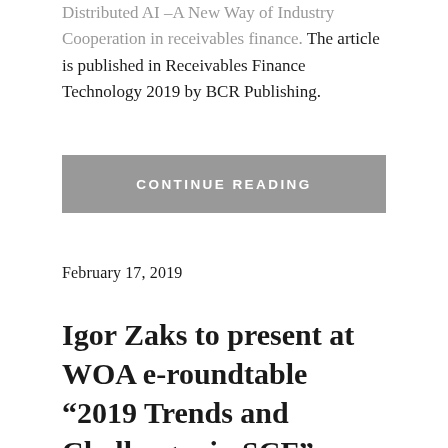Distributed AI –A New Way of Industry Cooperation in receivables finance. The article is published in Receivables Finance Technology 2019 by BCR Publishing.
CONTINUE READING
February 17, 2019
Igor Zaks to present at WOA e-roundtable “2019 Trends and Challenges in SCF”